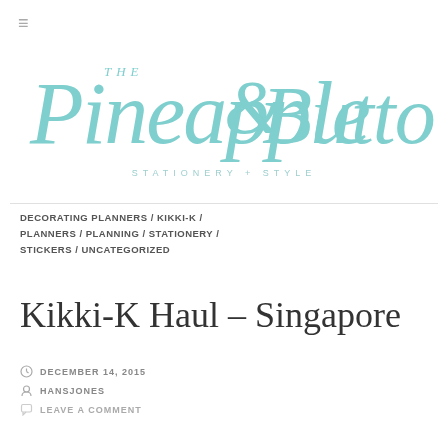[Figure (logo): The Pineapple & Button Co. logo in teal/turquoise cursive script with subtitle 'STATIONERY + STYLE']
DECORATING PLANNERS / KIKKI-K / PLANNERS / PLANNING / STATIONERY / STICKERS / UNCATEGORIZED
Kikki-K Haul – Singapore
DECEMBER 14, 2015
HANSJONES
LEAVE A COMMENT